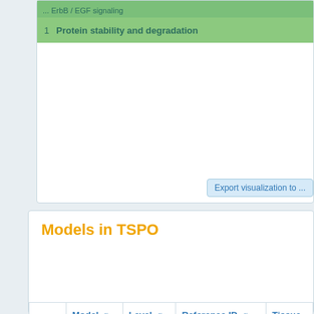Protein stability and degradation
Export visualization to ...
Models in TSPO
|  | Model | Level | Reference ID | Tissue |
| --- | --- | --- | --- | --- |
| Lo |  |  |  |  |